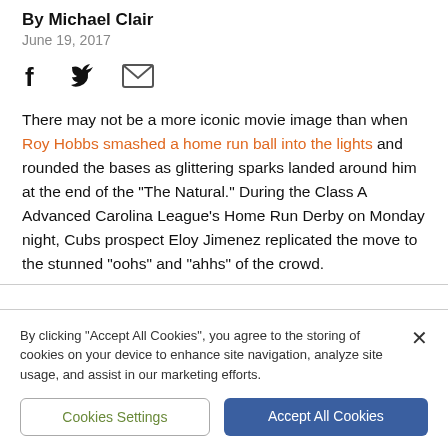By Michael Clair
June 19, 2017
[Figure (other): Social share icons: Facebook (f), Twitter (bird), Email (envelope)]
There may not be a more iconic movie image than when Roy Hobbs smashed a home run ball into the lights and rounded the bases as glittering sparks landed around him at the end of the "The Natural." During the Class A Advanced Carolina League's Home Run Derby on Monday night, Cubs prospect Eloy Jimenez replicated the move to the stunned "oohs" and "ahhs" of the crowd.
By clicking "Accept All Cookies", you agree to the storing of cookies on your device to enhance site navigation, analyze site usage, and assist in our marketing efforts.
Cookies Settings
Accept All Cookies